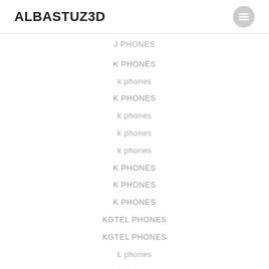ALBASTUZ3D
J PHONES
K PHONES
k phones
K PHONES
k phones
k phones
k phones
K PHONES
K PHONES
K PHONES
KGTEL PHONES
KGTEL PHONES
L phones
l phones